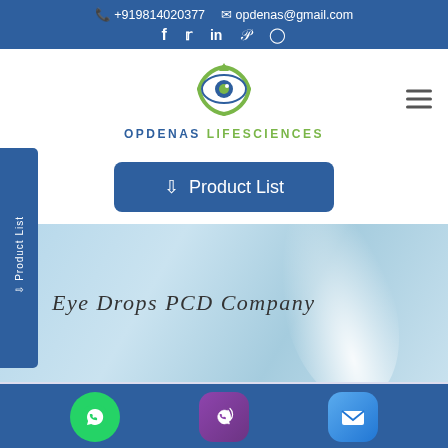+919814020377  opdenas@gmail.com  f  Twitter  in  Pinterest  Instagram
[Figure (logo): Opdenas Lifesciences eye logo with green circular arrows and blue eye pupil]
OPDENAS LIFESCIENCES
Product List
[Figure (illustration): Hero banner with light blue gradient background and white glowing arc shape, text: Eye Drops PCD Company]
Eye Drops PCD Company
WhatsApp | Phone | Email icons